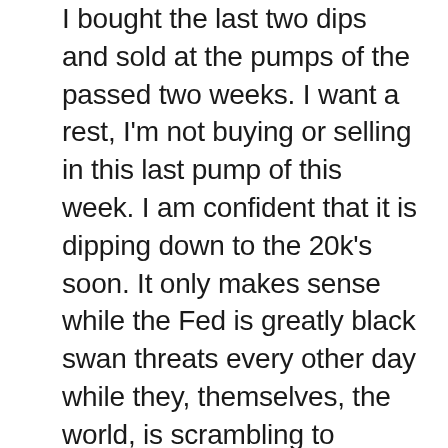I bought the last two dips and sold at the pumps of the passed two weeks. I want a rest, I'm not buying or selling in this last pump of this week. I am confident that it is dipping down to the 20k's soon. It only makes sense while the Fed is greatly black swan threats every other day while they, themselves, the world, is scrambling to transfer over their systems and creating their own crypto even. They want the big dip, to be occuring, so they get in on the best prices of the market. That's my thought process on that.